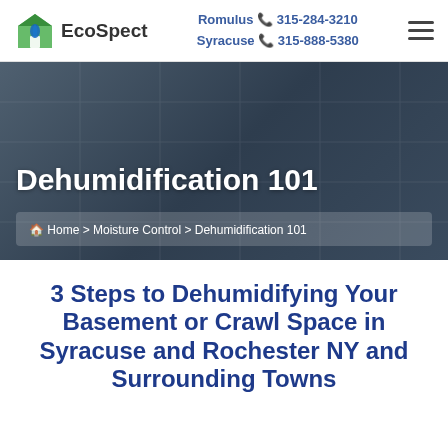EcoSpect | Romulus 315-284-3210 | Syracuse 315-888-5380
[Figure (illustration): EcoSpect logo: green house icon with water drop, beside bold text 'EcoSpect']
Dehumidification 101
Home > Moisture Control > Dehumidification 101
3 Steps to Dehumidifying Your Basement or Crawl Space in Syracuse and Rochester NY and Surrounding Towns